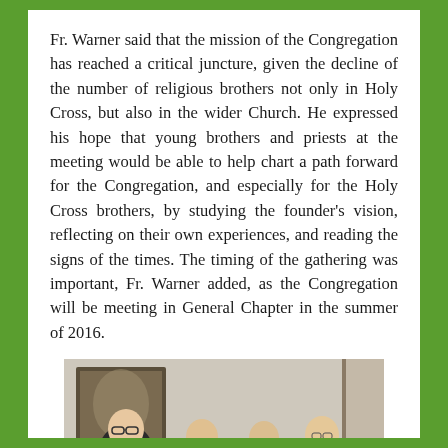Fr. Warner said that the mission of the Congregation has reached a critical juncture, given the decline of the number of religious brothers not only in Holy Cross, but also in the wider Church. He expressed his hope that young brothers and priests at the meeting would be able to help chart a path forward for the Congregation, and especially for the Holy Cross brothers, by studying the founder's vision, reflecting on their own experiences, and reading the signs of the times. The timing of the gathering was important, Fr. Warner added, as the Congregation will be meeting in General Chapter in the summer of 2016.
[Figure (photo): Four men seated around a table in a meeting room. A painting hangs on the wall behind them. Name placards are visible on the table. The men appear to be in discussion.]